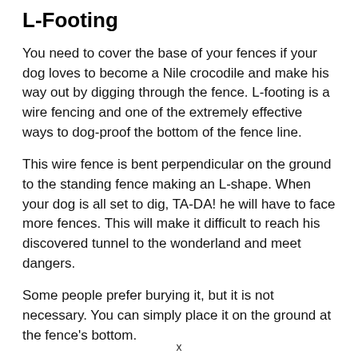L-Footing
You need to cover the base of your fences if your dog loves to become a Nile crocodile and make his way out by digging through the fence. L-footing is a wire fencing and one of the extremely effective ways to dog-proof the bottom of the fence line.
This wire fence is bent perpendicular on the ground to the standing fence making an L-shape. When your dog is all set to dig, TA-DA! he will have to face more fences. This will make it difficult to reach his discovered tunnel to the wonderland and meet dangers.
Some people prefer burying it, but it is not necessary. You can simply place it on the ground at the fence's bottom.
Albeit it is a fruitful dog-proofing method, it can hinder the
x